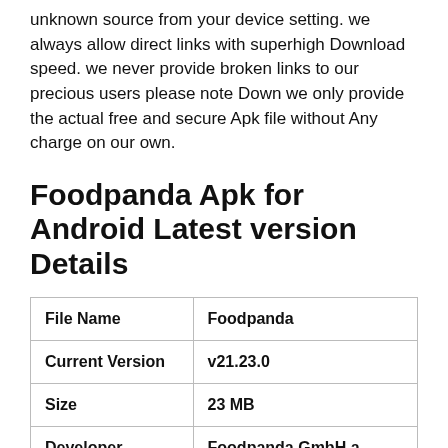unknown source from your device setting. we always allow direct links with superhigh Download speed. we never provide broken links to our precious users please note Down we only provide the actual free and secure Apk file without Any charge on our own.
Foodpanda Apk for Android Latest version Details
| File Name | Foodpanda |
| Current Version | v21.23.0 |
| Size | 23 MB |
| Developer | Foodpanda GmbH a subsidiary of Delivery Hero SE |